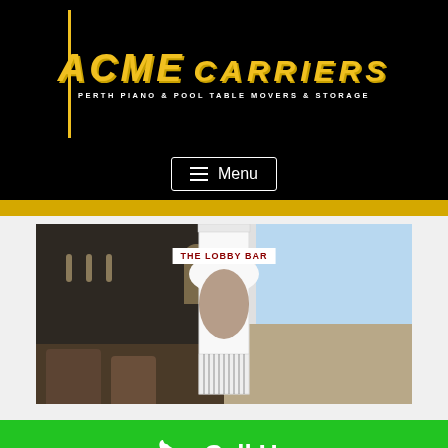[Figure (logo): ACME Carriers logo with gold italic text on black background. Main text: ACME CARRIERS. Subtitle: PERTH PIANO & POOL TABLE MOVERS & STORAGE. Yellow vertical bar on left side.]
Menu
[Figure (photo): Composite photo showing two scenes: left side is a dark hotel bar/lounge with chairs and wall lights; center shows a white grand piano with a sign reading THE LOBBY BAR; right side shows a bright room with large windows and columns.]
Call Us